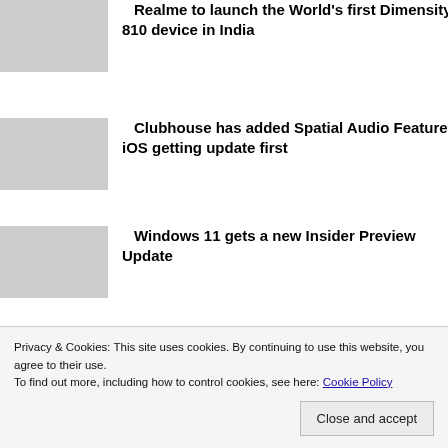Realme to launch the World's first Dimensity 810 device in India
Clubhouse has added Spatial Audio Feature, iOS getting update first
Windows 11 gets a new Insider Preview Update
HUAWEI just Announced the P50 series
Privacy & Cookies: This site uses cookies. By continuing to use this website, you agree to their use.
To find out more, including how to control cookies, see here: Cookie Policy
Close and accept